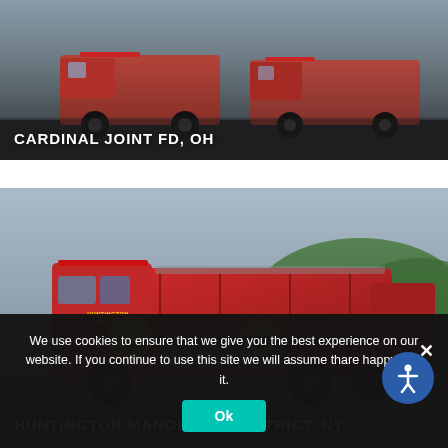[Figure (photo): Fire trucks in a parking lot, dark/grey background. Two large red fire engines visible.]
CARDINAL JOINT FD, OH
[Figure (photo): Red fire engine labeled Huntington Manor 7.2 (Engine 10), parked in a lot with green hills in the background.]
HUNTINGTON MANOR FIRE DISTRICT, NY
We use cookies to ensure that we give you the best experience on our website. If you continue to use this site we will assume that you are happy with it.